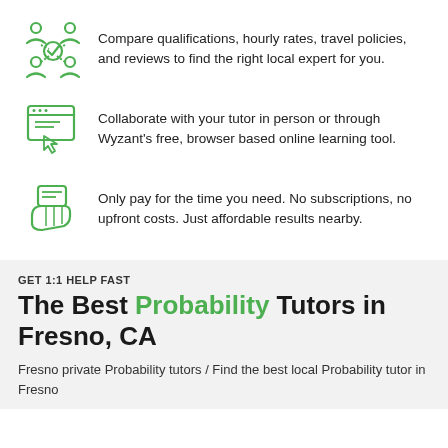Compare qualifications, hourly rates, travel policies, and reviews to find the right local expert for you.
Collaborate with your tutor in person or through Wyzant's free, browser based online learning tool.
Only pay for the time you need. No subscriptions, no upfront costs. Just affordable results nearby.
GET 1:1 HELP FAST
The Best Probability Tutors in Fresno, CA
Fresno private Probability tutors / Find the best local Probability tutor in Fresno